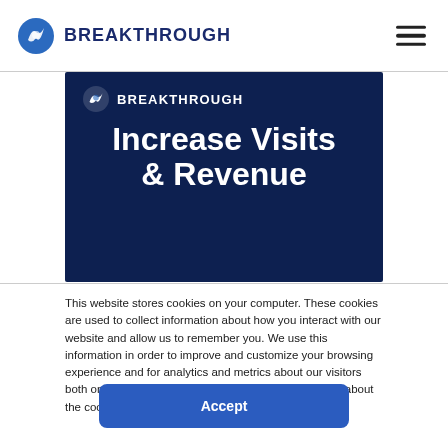BREAKTHROUGH
[Figure (logo): Breakthrough logo with dark navy blue background showing white shield/wing icon and BREAKTHROUGH text in white, with large bold text 'Increase Visits & Revenue' below]
This website stores cookies on your computer. These cookies are used to collect information about how you interact with our website and allow us to remember you. We use this information in order to improve and customize your browsing experience and for analytics and metrics about our visitors both on this website and other media. To find out more about the cookies we use, see our Privacy Policy
Accept